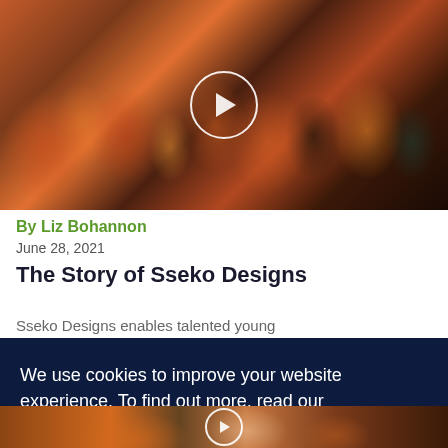[Figure (photo): Group photo of many people with arms raised, smiling and celebrating, with a white play button circle overlay in the center]
By Liz Bohannon
June 28, 2021
The Story of Sseko Designs
Sseko Designs enables talented young
We use cookies to improve your website experience. To find out more, read our Privacy Policy.
Accept All
[Figure (photo): Partial bottom thumbnail image of people, with a small play button circle overlay]